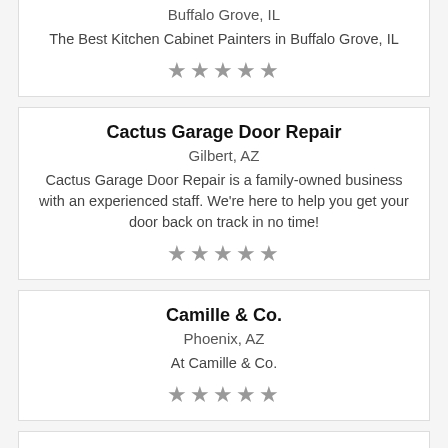Buffalo Grove, IL
The Best Kitchen Cabinet Painters in Buffalo Grove, IL
★★★★★
Cactus Garage Door Repair
Gilbert, AZ
Cactus Garage Door Repair is a family-owned business with an experienced staff. We're here to help you get your door back on track in no time!
★★★★★
Camille & Co.
Phoenix, AZ
At Camille & Co.
★★★★★